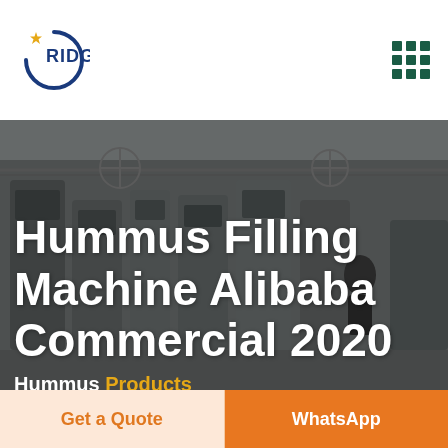RIDGE
[Figure (photo): Industrial factory floor with filling machines and equipment, dimly lit with a dark overlay. Text overlay reads: Hummus Filling Machine Alibaba Commercial 2020]
Hummus Filling Machine Alibaba Commercial 2020
Hummus Products
Get a Quote
WhatsApp